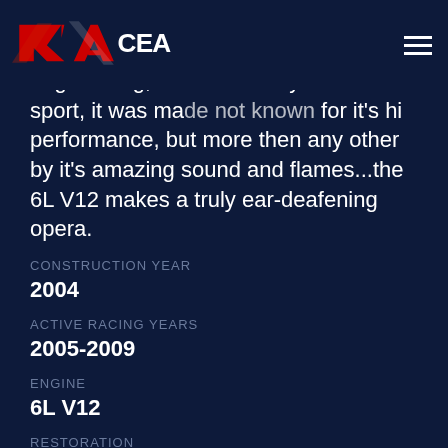[Figure (logo): RaceArt logo with red stylized 'R' and 'A' letterforms and white text]
engineering, under close eye of Audi sport, it was made not known for it's hi performance, but more then any other by it's amazing sound and flames...the 6L V12 makes a truly ear-deafening opera.
CONSTRUCTION YEAR
2004
ACTIVE RACING YEARS
2005-2009
ENGINE
6L V12
RESTORATION
2019